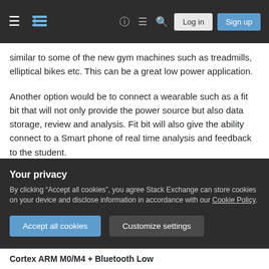Stack Exchange navigation bar with hamburger menu, logo, help, chat, search, Log in, Sign up
similar to some of the new gym machines such as treadmills, elliptical bikes etc. This can be a great low power application.
Another option would be to connect a wearable such as a fit bit that will not only provide the power source but also data storage, review and analysis. Fit bit will also give the ability connect to a Smart phone of real time analysis and feedback to the student.
Your privacy
By clicking "Accept all cookies", you agree Stack Exchange can store cookies on your device and disclose information in accordance with our Cookie Policy.
Accept all cookies  Customize settings
Cortex ARM M0/M4 + Bluetooth Low